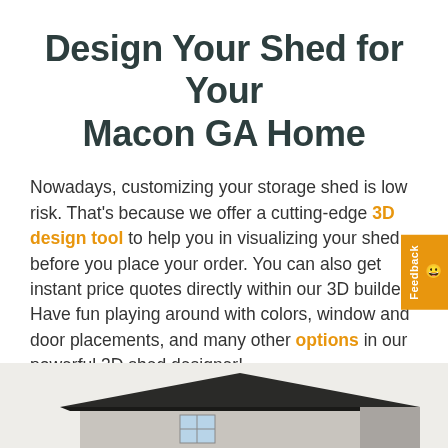Design Your Shed for Your Macon GA Home
Nowadays, customizing your storage shed is low risk. That's because we offer a cutting-edge 3D design tool to help you in visualizing your shed before you place your order. You can also get instant price quotes directly within our 3D builder. Have fun playing around with colors, window and door placements, and many other options in our powerful 3D shed designer!
[Figure (photo): Bottom portion of a dark-roofed shed building shown from a low angle against a light background]